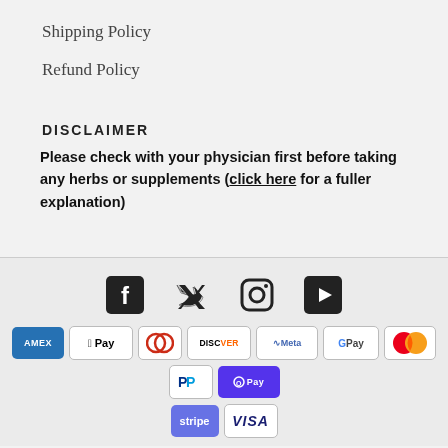Shipping Policy
Refund Policy
DISCLAIMER
Please check with your physician first before taking any herbs or supplements (click here for a fuller explanation)
[Figure (infographic): Social media icons: Facebook, Twitter, Instagram, YouTube]
[Figure (infographic): Payment method logos: Amex, Apple Pay, Diners Club, Discover, Meta Pay, Google Pay, Mastercard, PayPal, Shop Pay, Stripe, Visa]